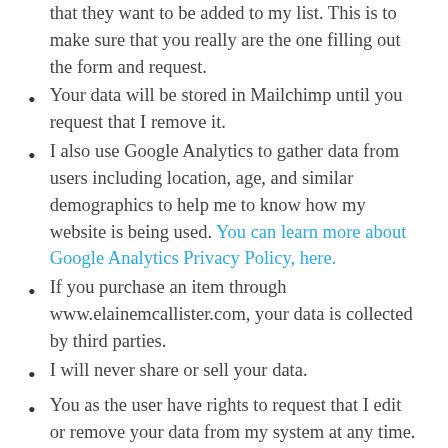that they want to be added to my list. This is to make sure that you really are the one filling out the form and request.
Your data will be stored in Mailchimp until you request that I remove it.
I also use Google Analytics to gather data from users including location, age, and similar demographics to help me to know how my website is being used. You can learn more about Google Analytics Privacy Policy, here.
If you purchase an item through www.elainemcallister.com, your data is collected by third parties.
I will never share or sell your data.
You as the user have rights to request that I edit or remove your data from my system at any time. You may also request to see how your data has been used.